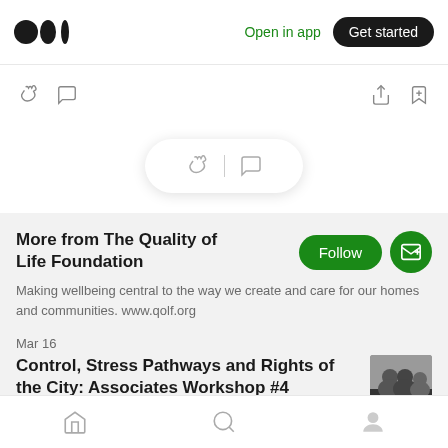[Figure (logo): Medium logo with three dots]
Open in app
Get started
[Figure (screenshot): Action bar with clap icon, comment icon, share icon, bookmark icon]
[Figure (screenshot): Floating pill with clap icon and comment icon]
More from The Quality of Life Foundation
Making wellbeing central to the way we create and care for our homes and communities. www.qolf.org
Mar 16
Control, Stress Pathways and Rights of the City: Associates Workshop #4
[Figure (photo): Thumbnail photo of people]
[Figure (screenshot): Bottom navigation bar with home, search, and profile icons]